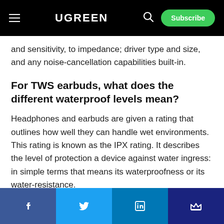UGREEN
and sensitivity, to impedance; driver type and size, and any noise-cancellation capabilities built-in.
For TWS earbuds, what does the different waterproof levels mean?
Headphones and earbuds are given a rating that outlines how well they can handle wet environments. This rating is known as the IPX rating. It describes the level of protection a device against water ingress: in simple terms that means its waterproofness or its water-resistance.
Facebook | Twitter | LinkedIn | Other